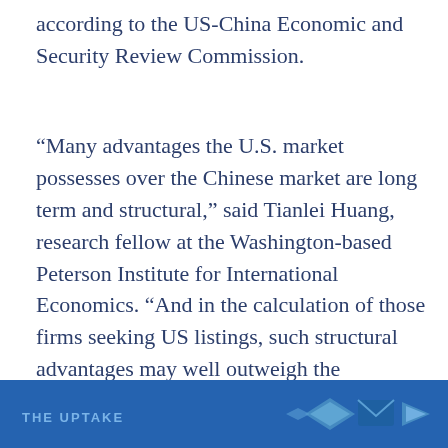according to the US-China Economic and Security Review Commission.
“Many advantages the U.S. market possesses over the Chinese market are long term and structural,” said Tianlei Huang, research fellow at the Washington-based Peterson Institute for International Economics. “And in the calculation of those firms seeking US listings, such structural advantages may well outweigh the challenges posed by stricter auditing rules and other uncertainties in the broader US-China relations.”
[Figure (other): Blue banner footer with publication logo text THE UPTAKE and decorative geometric icons in blue tones]